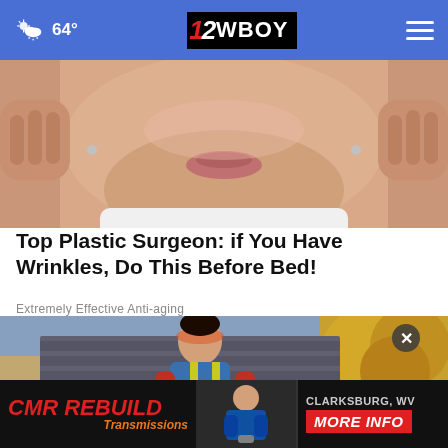64° — 12WBOY
[Figure (photo): Close-up photo of a person's face being pulled/stretched, wrinkles anti-aging advertisement image]
Top Plastic Surgeon: if You Have Wrinkles, Do This Before Bed!
Extremely Effective Anti-aging
[Figure (photo): A worker in safety gear working on a rooftop, with a house visible in the background and autumn trees]
[Figure (screenshot): CMR Rebuild Transmissions advertisement banner — shows CMR REBUILD logo, a mechanic photo, and MORE INFO button for Clarksburg, WV]